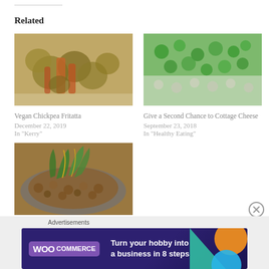Related
[Figure (photo): Vegan Chickpea Fritatta - roasted brussels sprouts and carrots on a white plate]
Vegan Chickpea Fritatta
December 22, 2019
In "Kerry"
[Figure (photo): Give a Second Chance to Cottage Cheese - close up of cottage cheese with peas]
Give a Second Chance to Cottage Cheese
September 23, 2018
In "Healthy Eating"
[Figure (photo): Vegan Chorizo - lentil dish with fresh greens on a blue plate]
Vegan Chorizo
Advertisements
[Figure (infographic): WooCommerce advertisement banner: Turn your hobby into a business in 8 steps]